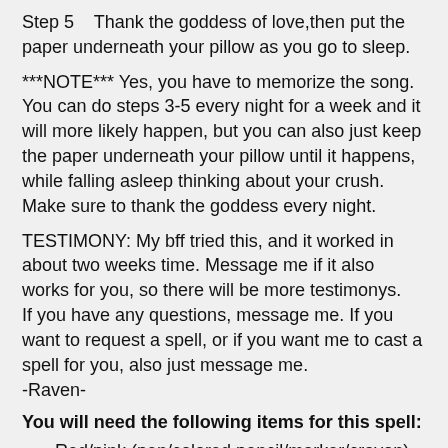Step 5    Thank the goddess of love,then put the paper underneath your pillow as you go to sleep.
***NOTE*** Yes, you have to memorize the song. You can do steps 3-5 every night for a week and it will more likely happen, but you can also just keep the paper underneath your pillow until it happens, while falling asleep thinking about your crush. Make sure to thank the goddess every night.
TESTIMONY: My bff tried this, and it worked in about two weeks time. Message me if it also works for you, so there will be more testimonys.
If you have any questions, message me. If you want to request a spell, or if you want me to cast a spell for you, also just message me.
-Raven-
You will need the following items for this spell:
Red/pink (pen/colored pencil/marker/crayon)